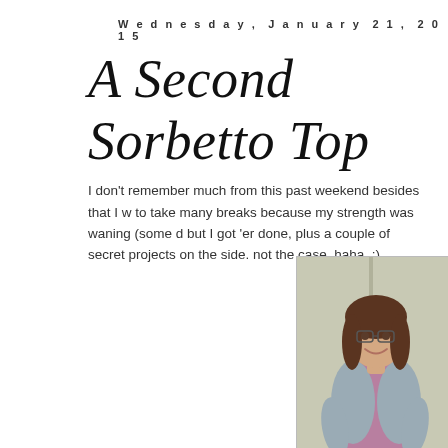Wednesday, January 21, 2015
A Second Sorbetto Top
I don't remember much from this past weekend besides that I w... to take many breaks because my strength was waning (some d... but I got 'er done, plus a couple of secret projects on the side. not the case, haha. :)
[Figure (photo): A woman with dark hair, glasses, and a smile, wearing a pink floral top and a gray striped cardigan, standing indoors in front of a wall.]